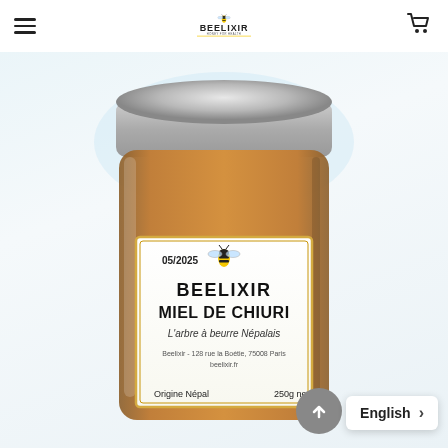[Figure (logo): Beelixir brand logo with bee icon and tagline in header]
[Figure (photo): Close-up photo of a glass jar of Beelixir Miel de Chiuri honey. The jar has a silver metal lid and a white label with gold border. Label reads: 05/2025, Beelixir logo with bee, BEELIXIR, MIEL DE CHIURI, L'arbre à beurre Népalais, Beelixir - 128 rue la Boétie, 75008 Paris, beelixir.fr, Origine Népal, 250g ne. Background is light blue-white.]
English
[Figure (other): Scroll-up circular button with upward arrow]